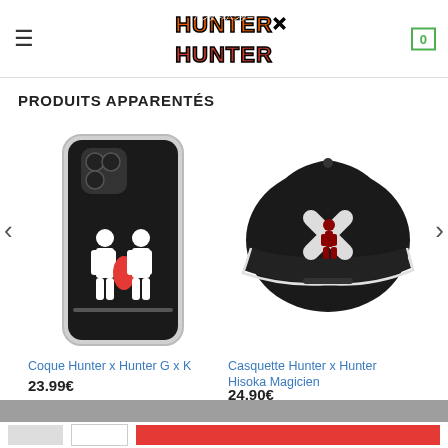Hunter x Hunter - Logo header with hamburger menu and cart
PRODUITS APPARENTÉS
[Figure (photo): Phone case with Hunter x Hunter silhouette design (G x K) on black background]
Coque Hunter x Hunter G x K
23.99€
[Figure (photo): Black baseball cap with Hunter x Hunter Hisoka Magicien embroidery design]
Casquette Hunter x Hunter Hisoka Magicien
24.90€